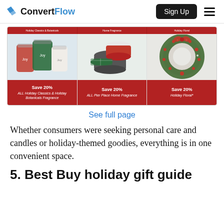ConvertFlow — Sign Up
[Figure (screenshot): Product promotional image showing three columns of holiday items from Pier 1: (1) Holiday Classics & Holiday Botanicals Fragrance candles with 'Save 20%' banner, (2) Pier Place Home Fragrance candle tins with 'Save 20%' banner, (3) Holiday Floral wreath with 'Save 20%' banner. Each column has a red top banner and red bottom banner with offer text.]
See full page
Whether consumers were seeking personal care and candles or holiday-themed goodies, everything is in one convenient space.
5. Best Buy holiday gift guide